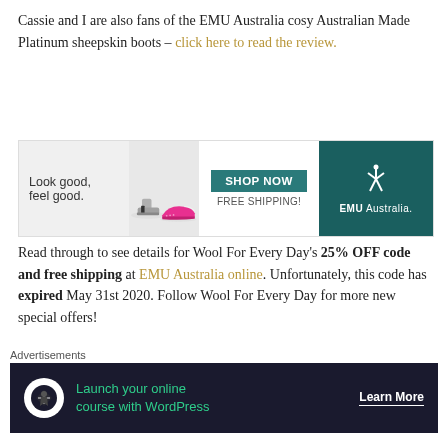Cassie and I are also fans of the EMU Australia cosy Australian Made Platinum sheepskin boots – click here to read the review.
[Figure (infographic): EMU Australia advertisement banner showing boots and sneakers with 'Look good, feel good.', SHOP NOW button, FREE SHIPPING!, and EMU Australia logo on teal background]
Read through to see details for Wool For Every Day's 25% OFF code and free shipping at EMU Australia online. Unfortunately, this code has expired May 31st 2020. Follow Wool For Every Day for more new special offers!
If you have stumbled across our website for the first time, and you aren't sure what we do, then please allow us to introduce ourselves and to welcome you here to Wool for Every Day. Wool for Every Day is a wool education and wool product curation review platform, the passion...
[Figure (infographic): Advertisement: 'Advertisements' label above dark navy banner reading 'Launch your online course with WordPress' with Learn More button and tree icon]